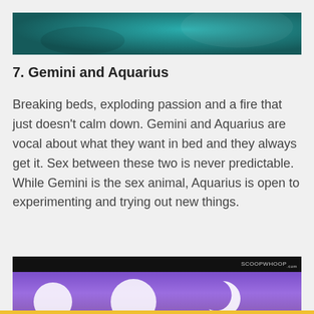[Figure (photo): Top portion of a teal/dark cyan colored decorative image, partially visible at the top of the page]
7. Gemini and Aquarius
Breaking beds, exploding passion and a fire that just doesn't calm down. Gemini and Aquarius are vocal about what they want in bed and they always get it. Sex between these two is never predictable. While Gemini is the sex animal, Aquarius is open to experimenting and trying out new things.
[Figure (illustration): Bottom portion of a purple-background illustration with white circular shapes and a crescent moon, with a black header bar showing 'SCOOPWHOOP' branding, and a yellow bar at the very bottom]